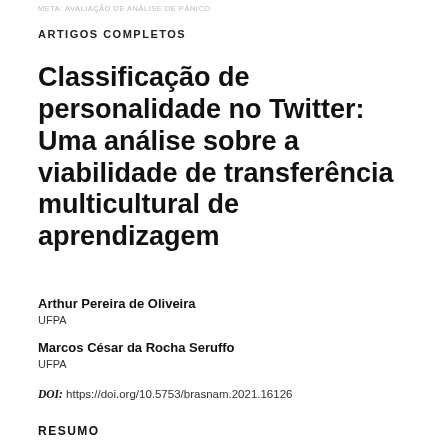META: AVALIAÇÃO DE ANÁLISE DE PÂNICO
ARTIGOS COMPLETOS
Classificação de personalidade no Twitter: Uma análise sobre a viabilidade de transferência multicultural de aprendizagem
Arthur Pereira de Oliveira
UFPA
Marcos César da Rocha Seruffo
UFPA
DOI: https://doi.org/10.5753/brasnam.2021.16126
RESUMO